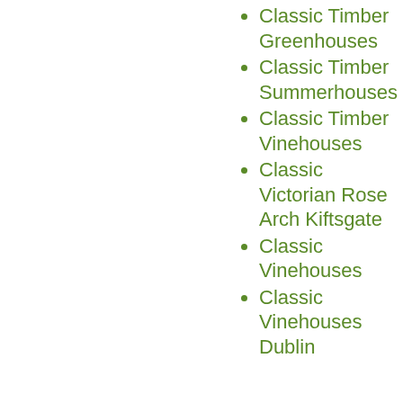Classic Timber Greenhouses
Classic Timber Summerhouses
Classic Timber Vinehouses
Classic Victorian Rose Arch Kiftsgate
Classic Vinehouses
Classic Vinehouses Dublin
Our site uses cookies, including for advertising personalisation. For more information, see our cookie policy.
Accept cookies and close
Reject cookies
Manage settings